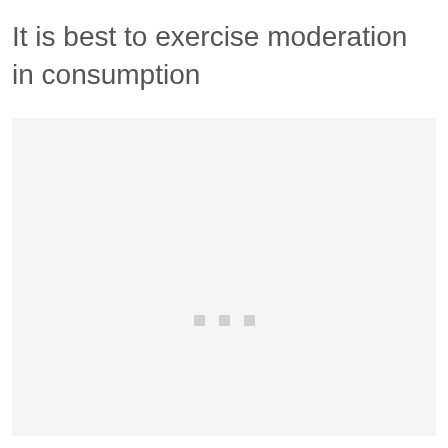It is best to exercise moderation in consumption
[Figure (other): Large light gray placeholder image area with three small gray square dots centered in the lower portion]